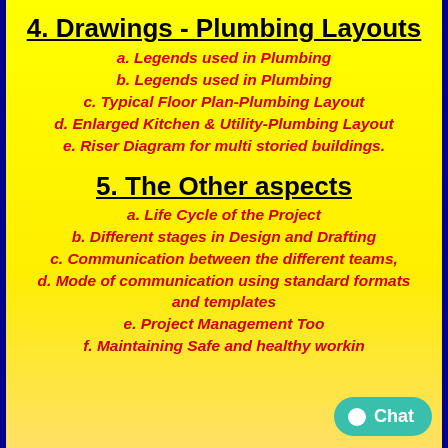4. Drawings - Plumbing Layouts
a. Legends used in Plumbing
b. Legends used in Plumbing
c. Typical Floor Plan-Plumbing Layout
d. Enlarged Kitchen & Utility-Plumbing Layout
e. Riser Diagram for multi storied buildings.
5. The Other aspects
a. Life Cycle of the Project
b. Different stages in Design and Drafting
c. Communication between the different teams,
d. Mode of communication using standard formats and templates
e. Project Management Too[l]
f. Maintaining Safe and healthy workin[g]